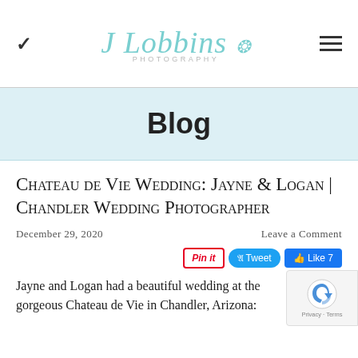J Lobbins Photography — navigation header with chevron and hamburger menu
Blog
Chateau de Vie Wedding: Jayne & Logan | Chandler Wedding Photographer
December 29, 2020
Leave a Comment
[Figure (other): Social sharing buttons: Pinterest Pin it button, Twitter Tweet button, Facebook Like 7 button]
Jayne and Logan had a beautiful wedding at the gorgeous Chateau de Vie in Chandler, Arizona: